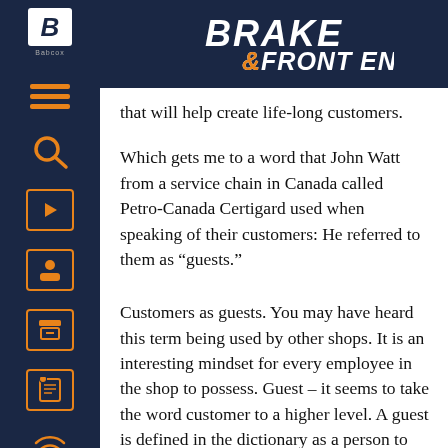BRAKE & FRONT END
that will help create life-long customers.
Which gets me to a word that John Watt from a service chain in Canada called Petro-Canada Certigard used when speaking of their customers: He referred to them as “guests.”
Customers as guests. You may have heard this term being used by other shops. It is an interesting mindset for every employee in the shop to possess. Guest – it seems to take the word customer to a higher level. A guest is defined in the dictionary as a person to whom hospitality is extended. A customer is defined as one who purchases a commodity or service. Which would you rather be, a guest or a customer?